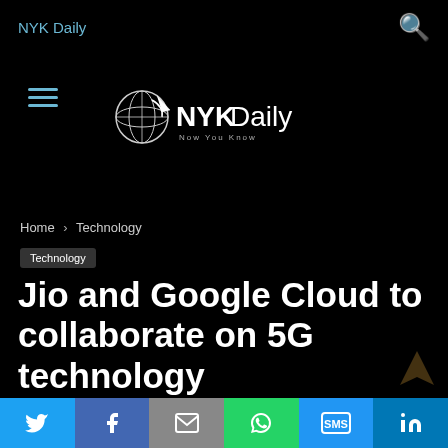NYK Daily
[Figure (logo): NYK Daily logo with globe icon and tagline 'Now You Know']
Home › Technology
Technology
Jio and Google Cloud to collaborate on 5G technology
By Nikhil Linga - June 25, 2021
[Figure (infographic): Social sharing bar with Twitter, Facebook, Email, WhatsApp, SMS, LinkedIn buttons]